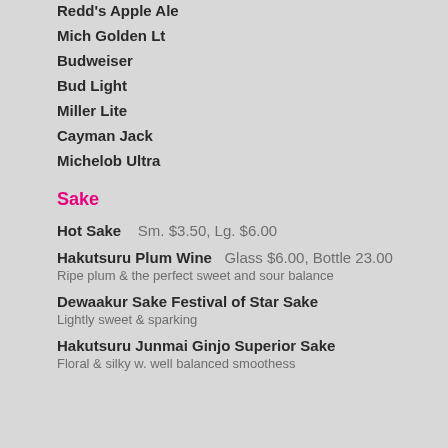Redd's Apple Ale
Mich Golden Lt
Budweiser
Bud Light
Miller Lite
Cayman Jack
Michelob Ultra
Sake
Hot Sake    Sm. $3.50, Lg. $6.00
Hakutsuru Plum Wine    Glass $6.00, Bottle 23.00
Ripe plum & the perfect sweet and sour balance
Dewaakur Sake Festival of Star Sake
Lightly sweet & sparking
Hakutsuru Junmai Ginjo Superior Sake
Floral & silky w. well balanced smoothess